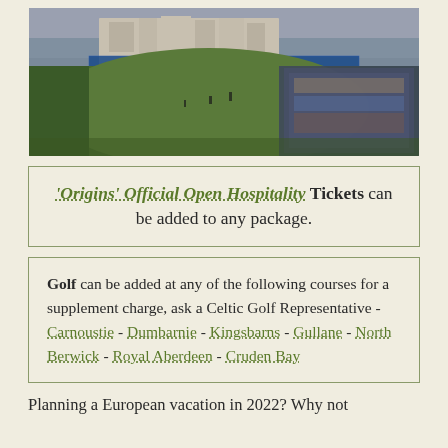[Figure (photo): Aerial/wide view of a golf course, likely St Andrews, during The Open Championship. A large classical stone clubhouse is visible in the background. Spectators fill the right side of the stands. The course is green with players on the fairway.]
'Origins' Official Open Hospitality Tickets can be added to any package.
Golf can be added at any of the following courses for a supplement charge, ask a Celtic Golf Representative - Carnoustie - Dumbarnie - Kingsbarns - Gullane - North Berwick - Royal Aberdeen - Cruden Bay
Planning a European vacation in 2022? Why not